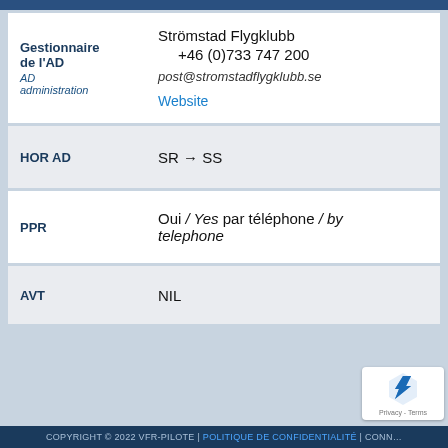| Field | Value |
| --- | --- |
| Gestionnaire de l'AD / AD administration | Strömstad Flygklubb
+46 (0)733 747 200
post@stromstadflygklubb.se
Website |
| HOR AD | SR → SS |
| PPR | Oui / Yes par téléphone / by telephone |
| AVT | NIL |
COPYRIGHT © 2022 VFR-PILOTE | POLITIQUE DE CONFIDENTIALITÉ | CONN...